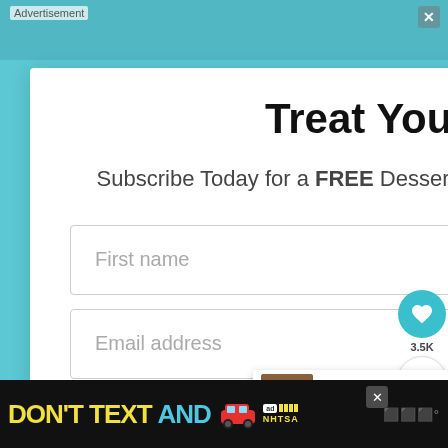Advertisement
Treat Yourself!
Subscribe Today for a FREE Dessert Ebook and weekly recipes!
First name
Email address
Subscribe
3.5K
WHAT'S NEXT → Cajun Salmon Cakes
[Figure (screenshot): Bottom advertisement banner: DON'T TEXT AND with a car emoji, ad badge, NHTSA logo, and weather app icon]
DON'T TEXT AND